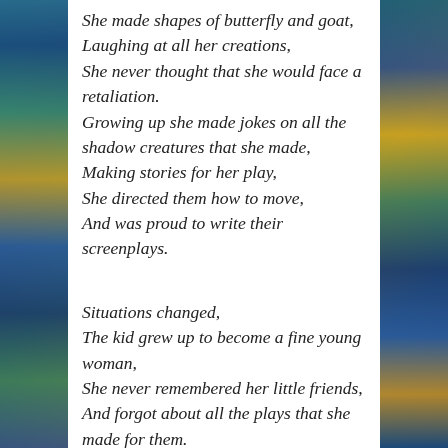She made shapes of butterfly and goat,
Laughing at all her creations,
She never thought that she would face a retaliation.
Growing up she made jokes on all the shadow creatures that she made,
Making stories for her play,
She directed them how to move,
And was proud to write their screenplays.

Situations changed,
The kid grew up to become a fine young woman,
She never remembered her little friends,
And forgot about all the plays that she made for them.
Now,the light she loved became dimmer day by